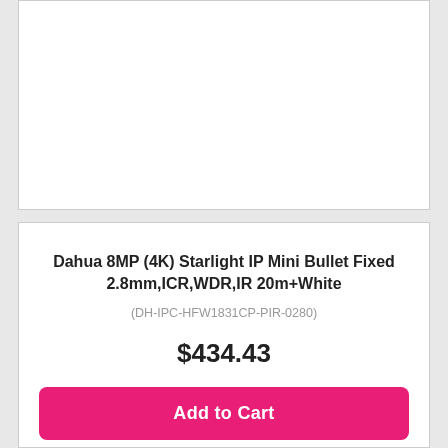[Figure (photo): White product image area for Dahua 8MP (4K) Starlight IP Mini Bullet camera]
Dahua 8MP (4K) Starlight IP Mini Bullet Fixed 2.8mm,ICR,WDR,IR 20m+White
(DH-IPC-HFW1831CP-PIR-0280)
$434.43
Add to Cart
Add to Wishlist